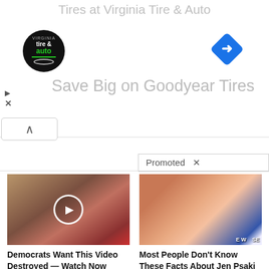[Figure (screenshot): Advertisement banner for Virginia Tire & Auto - Save Big on Goodyear Tires, with logo and navigation icon]
Tires at Virginia Tire & Auto
Save Big on Goodyear Tires
[Figure (screenshot): Promoted content section label with X close button]
Promoted ×
[Figure (photo): Photo of two people (man and woman), with video play button overlay - article thumbnail]
Democrats Want This Video Destroyed — Watch Now Before It's Banned
🔥 220,622
[Figure (photo): Photo of red-haired woman at press briefing with White House backdrop - article thumbnail]
Most People Don't Know These Facts About Jen Psaki (#2 Is Shocking!)
🔥 27,714